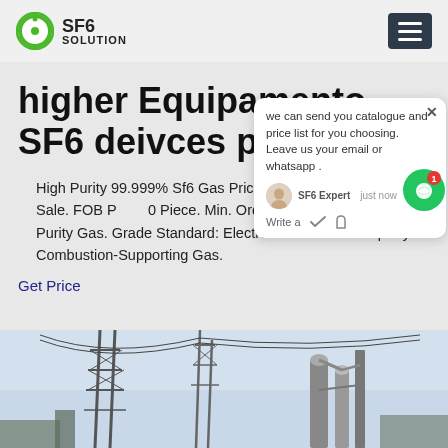SF6 SOLUTION
higher Equipamento SF6 deivces price
High Purity 99.999% Sf6 Gas Price Sulfur Hexafluoride for Sale. FOB Price: 0 Piece. Min. Order: 20 Pieces. Const Purity Gas. Grade Standard: Electro Chemical Property: Combustion-Supporting Gas.
Get Price
[Figure (screenshot): Chat popup showing: 'we can send you catalogue and price list for you choosing. Leave us your email or whatsapp.' with SF6 Expert avatar and just now timestamp, write a message area with like and attachment icons]
[Figure (photo): Industrial power infrastructure photo showing electrical towers, cables and equipment against a sky background]